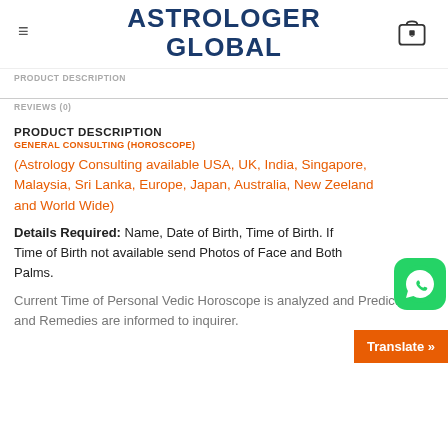ASTROLOGER GLOBAL
PRODUCT DESCRIPTION
REVIEWS (0)
PRODUCT DESCRIPTION
GENERAL CONSULTING (HOROSCOPE)
(Astrology Consulting available USA, UK, India, Singapore, Malaysia, Sri Lanka, Europe, Japan, Australia, New Zeeland and World Wide)
Details Required: Name, Date of Birth, Time of Birth. If Time of Birth not available send Photos of Face and Both Palms.
Current Time of Personal Vedic Horoscope is analyzed and Predictions and Remedies are informed to inquirer.